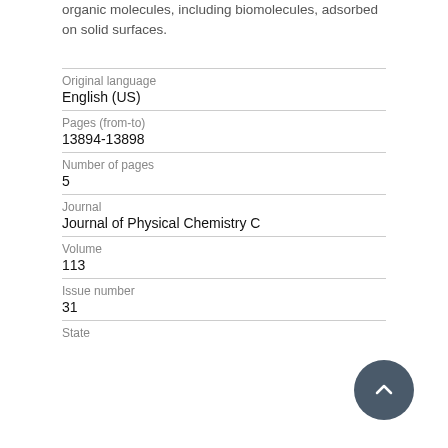organic molecules, including biomolecules, adsorbed on solid surfaces.
| Original language | English (US) |
| Pages (from-to) | 13894-13898 |
| Number of pages | 5 |
| Journal | Journal of Physical Chemistry C |
| Volume | 113 |
| Issue number | 31 |
| State |  |